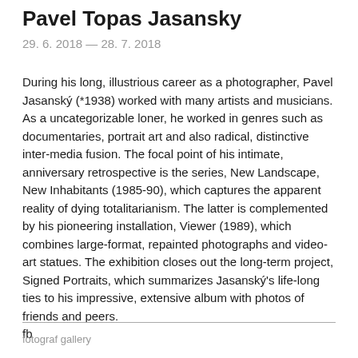Pavel Topas Jasansky
29. 6. 2018 — 28. 7. 2018
During his long, illustrious career as a photographer, Pavel Jasanský (*1938) worked with many artists and musicians. As a uncategorizable loner, he worked in genres such as documentaries, portrait art and also radical, distinctive inter-media fusion. The focal point of his intimate, anniversary retrospective is the series, New Landscape, New Inhabitants (1985-90), which captures the apparent reality of dying totalitarianism. The latter is complemented by his pioneering installation, Viewer (1989), which combines large-format, repainted photographs and video-art statues. The exhibition closes out the long-term project, Signed Portraits, which summarizes Jasanský's life-long ties to his impressive, extensive album with photos of friends and peers.
fb
fotograf gallery